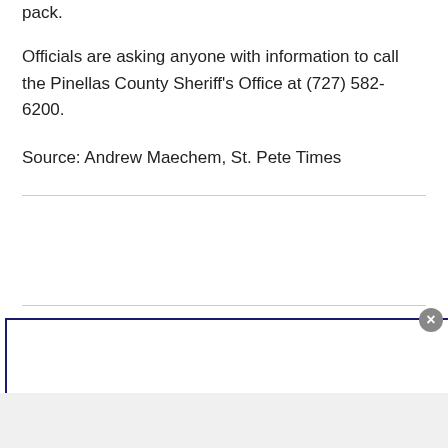pack.
Officials are asking anyone with information to call the Pinellas County Sheriff's Office at (727) 582-6200.
Source: Andrew Maechem, St. Pete Times